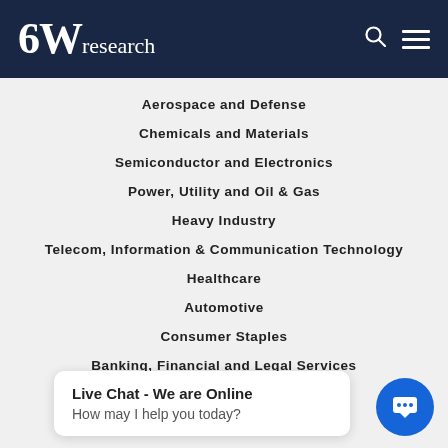6Wresearch
Aerospace and Defense
Chemicals and Materials
Semiconductor and Electronics
Power, Utility and Oil & Gas
Heavy Industry
Telecom, Information & Communication Technology
Healthcare
Automotive
Consumer Staples
Banking, Financial and Legal Services
Metals and Minerals
Media and Entertainment
Miscellaneous
Live Chat - We are Online
How may I help you today?